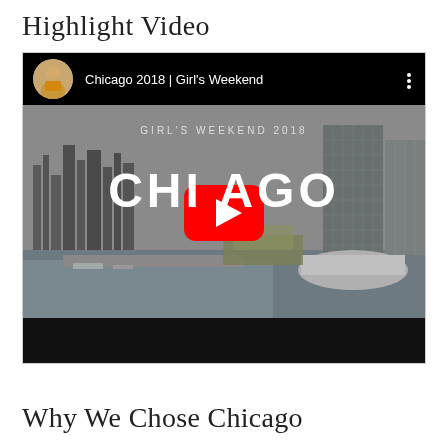Highlight Video
[Figure (screenshot): YouTube video embed showing 'Chicago 2018 | Girl's Weekend' with a city skyline thumbnail, YouTube play button overlay, text 'GIRL'S WEEKEND 2018' and 'CHICAGO' overlaid on the video thumbnail.]
Why We Chose Chicago